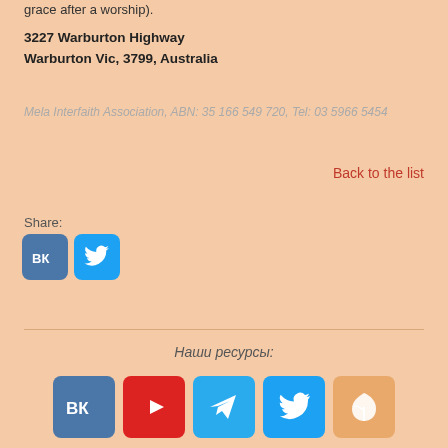grace after a worship).
3227 Warburton Highway
Warburton Vic, 3799, Australia
Mela Interfaith Association, ABN: 35 166 549 720, Tel: 03 5966 5454
Back to the list
Share:
[Figure (logo): VK and Twitter share icon buttons]
Наши ресурсы:
[Figure (logo): Footer social media icons: VK, YouTube, Telegram, Twitter, Leaf/other]